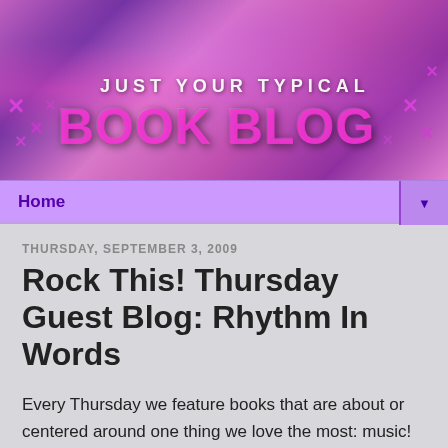[Figure (illustration): Blog banner header image with pink/purple collage background showing people and music-related imagery, with overlaid text reading 'JUST YOUR TYPICAL BOOK BLOG' in large stylized lettering with X marks and decorative elements]
Home ▼
THURSDAY, SEPTEMBER 3, 2009
Rock This! Thursday Guest Blog: Rhythm In Words
Every Thursday we feature books that are about or centered around one thing we love the most: music! Once in a while we'll even throw in a concert story, music you should hear or have an author stop by to hang out with us.